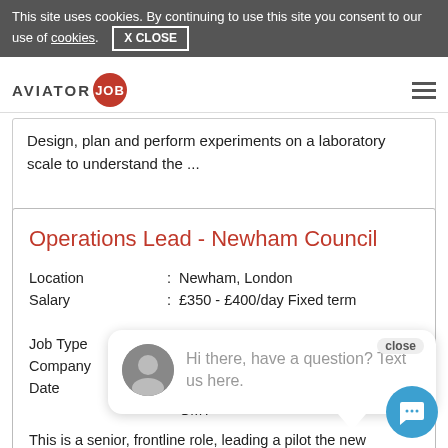This site uses cookies. By continuing to use this site you consent to our use of cookies. X CLOSE
[Figure (logo): AVIATOR JOB logo with red circle containing 'JOB' text and hamburger menu icon]
Design, plan and perform experiments on a laboratory scale to understand the ...
Operations Lead - Newham Council
Location : Newham, London
Salary : £350 - £400/day Fixed term
Job Type :
Company :
Date :
GMT
This is a senior, frontline role, leading a pilot the new exploitation, harm and violence reduction screening and ... This will include
[Figure (other): Chat popup with avatar photo and text: Hi there, have a question? Text us here. With close button.]
[Figure (other): Blue circular chat button with speech bubble icon]